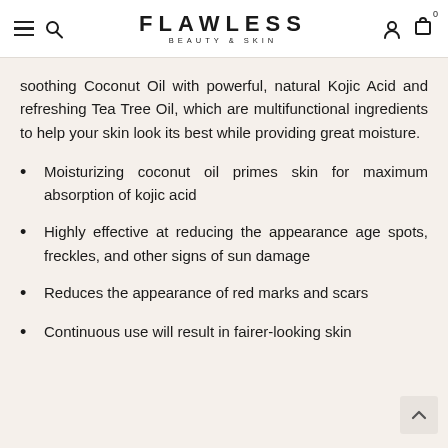FLAWLESS BEAUTY & SKIN
soothing Coconut Oil with powerful, natural Kojic Acid and refreshing Tea Tree Oil, which are multifunctional ingredients to help your skin look its best while providing great moisture.
Moisturizing coconut oil primes skin for maximum absorption of kojic acid
Highly effective at reducing the appearance age spots, freckles, and other signs of sun damage
Reduces the appearance of red marks and scars
Continuous use will result in fairer-looking skin